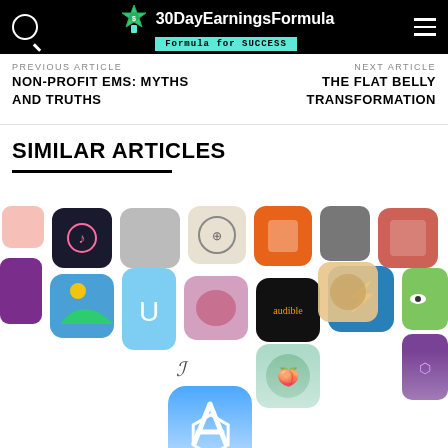30DayEarningsFormula — Formula for SUCCESS
PREVIOUS ARTICLE
NON-PROFIT EMS: MYTHS AND TRUTHS
NEXT ARTICLE
THE FLAT BELLY TRANSFORMATION
SIMILAR ARTICLES
[Figure (illustration): A collage of app icons from the Apple App Store, showing various colorful app icons scattered in a cluster, with the App Store icon prominently at the bottom center.]